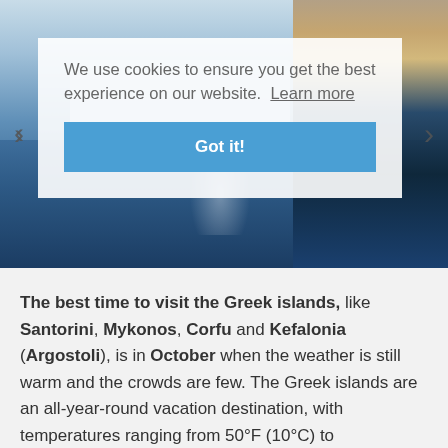[Figure (photo): Hero image of a Greek island coastal town (likely Mykonos) at dusk with blue water and illuminated buildings reflected in the water, with a cookie consent overlay banner and navigation arrows.]
We use cookies to ensure you get the best experience on our website. Learn more
Got it!
The best time to visit the Greek islands, like Santorini, Mykonos, Corfu and Kefalonia (Argostoli), is in October when the weather is still warm and the crowds are few. The Greek islands are an all-year-round vacation destination, with temperatures ranging from 50°F (10°C) to approximately 100°F (38°C).